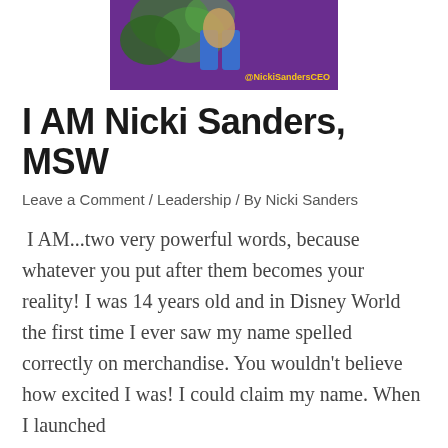[Figure (photo): Partial image of a person against a green leafy background, overlaid on a purple banner. Yellow text '@NickiSandersCEO' appears in the lower right.]
I AM Nicki Sanders, MSW
Leave a Comment / Leadership / By Nicki Sanders
I AM...two very powerful words, because whatever you put after them becomes your reality! I was 14 years old and in Disney World the first time I ever saw my name spelled correctly on merchandise. You wouldn't believe how excited I was! I could claim my name. When I launched